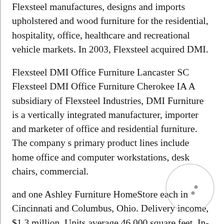Flexsteel manufactures, designs and imports upholstered and wood furniture for the residential, hospitality, office, healthcare and recreational vehicle markets. In 2003, Flexsteel acquired DMI.
Flexsteel DMI Office Furniture Lancaster SC Flexsteel DMI Office Furniture Cherokee IA A subsidiary of Flexsteel Industries, DMI Furniture is a vertically integrated manufacturer, importer and marketer of office and residential furniture. The company s primary product lines include home office and computer workstations, desk chairs, commercial.
and one Ashley Furniture HomeStore each in Cincinnati and Columbus, Ohio. Delivery income, $1.3 million. Units average 46,000 square feet. In-store galleries: Lane, Natuzzi, Rowe and Flexsteel, two.
With beautiful cinematography and innovative narrative structure, it tells the story of three generations of Gullah women from the Peazant family